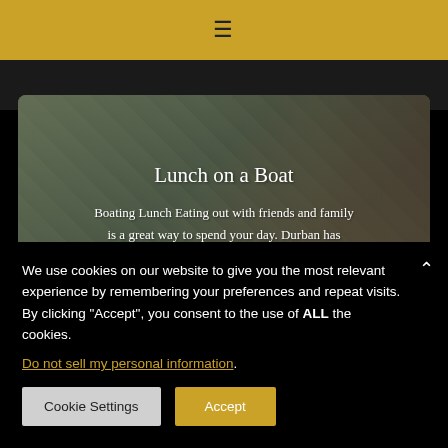≡
[Figure (photo): Hotel or resort building with palm trees and balconies, partially obscured by a translucent grey overlay on the left side. Background shows tropical vegetation and multi-storey building facade.]
Lunch on a Boat
Boating Lunch Eating out with friends and family is a great way to spend your day. Durban has many venues for lunch out and the beachfront
We use cookies on our website to give you the most relevant experience by remembering your preferences and repeat visits. By clicking "Accept", you consent to the use of ALL the cookies.
Do not sell my personal information.
Cookie Settings | Accept